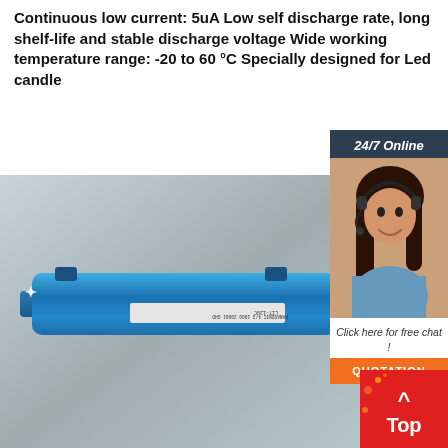Continuous low current: 5uA Low self discharge rate, long shelf-life and stable discharge voltage Wide working temperature range: -20 to 60 °C Specially designed for Led candle
[Figure (photo): Blue lithium battery pack with label and red/black wire connector, photographed on a gray background]
[Figure (infographic): 24/7 Online customer service widget showing a woman with headset, 'Click here for free chat!' text, and orange QUOTATION button]
[Figure (infographic): Red 'Top' button with upward arrow for page navigation]